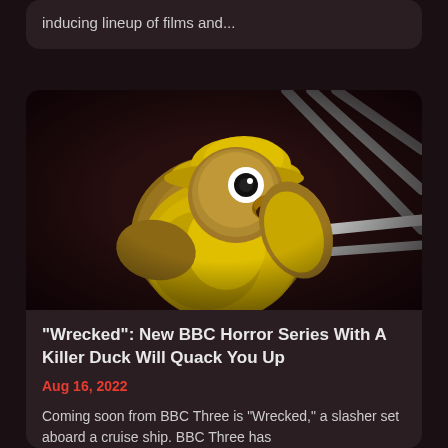inducing lineup of films and...
[Figure (photo): A bird (duck or parrot) wearing a yellow raincoat and hat, gripping metal railings in a dark, dramatic horror-style scene.]
“Wrecked”: New BBC Horror Series With A Killer Duck Will Quack You Up
Aug 16, 2022
Coming soon from BBC Three is "Wrecked," a slasher set aboard a cruise ship. BBC Three has